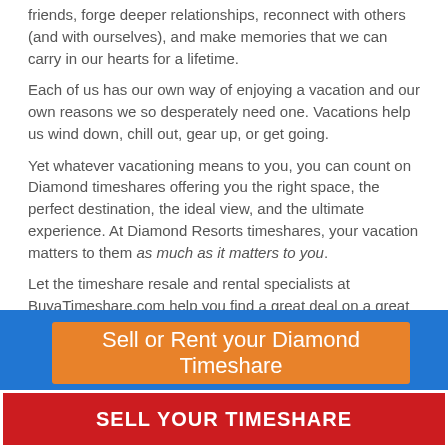friends, forge deeper relationships, reconnect with others (and with ourselves), and make memories that we can carry in our hearts for a lifetime.
Each of us has our own way of enjoying a vacation and our own reasons we so desperately need one. Vacations help us wind down, chill out, gear up, or get going.
Yet whatever vacationing means to you, you can count on Diamond timeshares offering you the right space, the perfect destination, the ideal view, and the ultimate experience. At Diamond Resorts timeshares, your vacation matters to them as much as it matters to you.
Let the timeshare resale and rental specialists at BuyaTimeshare.com help you find a great deal on a great Diamond!
Sell or Rent your Diamond Timeshare
SELL YOUR TIMESHARE